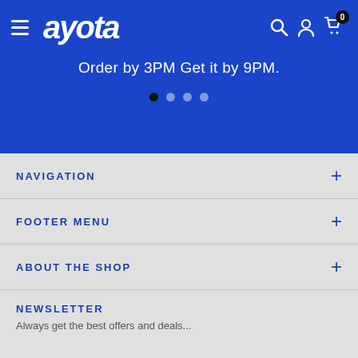[Figure (logo): Ayota brand logo in white italic bold font on blue background]
Order by 3PM Get it by 9PM.
NAVIGATION
FOOTER MENU
ABOUT THE SHOP
NEWSLETTER
Always get the best offers and news on deals...